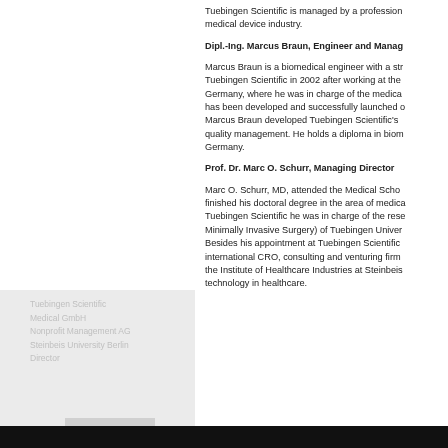Tuebingen Scientific is managed by a professional team with extensive experience in the medical device industry.
Dipl.-Ing. Marcus Braun, Engineer and Managing Director
Marcus Braun is a biomedical engineer with a strong background in surgery. He joined Tuebingen Scientific in 2002 after working at the Endoscopy Department of the University Hospital Germany, where he was in charge of the medical aspects during the development of AIDA which has been developed and successfully launched during his career at Tuebingen Scientific. Marcus Braun developed Tuebingen Scientific's internal structures in quality management. He holds a diploma in biomedical engineering from a university in Germany.
Prof. Dr. Marc O. Schurr, Managing Director
Marc O. Schurr, MD, attended the Medical School of the University of Tuebingen, Germany and finished his doctoral degree in the area of medical robotics. Before joining and co-founding Tuebingen Scientific he was in charge of the research department of IRCAD (Institute for Research in Minimally Invasive Surgery) of Tuebingen University Hospital. Besides his appointment at Tuebingen Scientific he is managing director of an international CRO, consulting and venturing firm in the healthcare arena and is the director of the Institute of Healthcare Industries at Steinbeis University Berlin focusing on strategy and technology in healthcare.